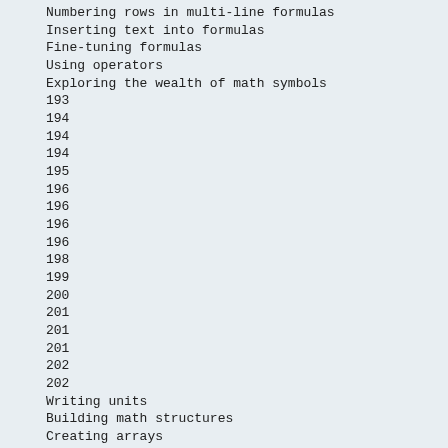Numbering rows in multi-line formulas
Inserting text into formulas
Fine-tuning formulas
Using operators
Exploring the wealth of math symbols
193
194
194
194
195
196
196
196
196
198
199
200
201
201
201
202
202
Writing units
Building math structures
Creating arrays
Writing binomial coefficients:
Typesetting matrices
Stacking expressions
Underlining and overlining
Setting accents
Putting a symbol above another
Writing theorems and definitions
Summary